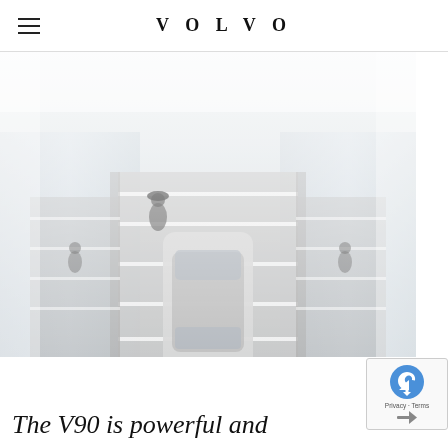VOLVO
[Figure (photo): Aerial view of a Volvo V90 car on a dock/pier over water, with a person standing nearby, misty/foggy atmosphere]
The V90 is powerful and